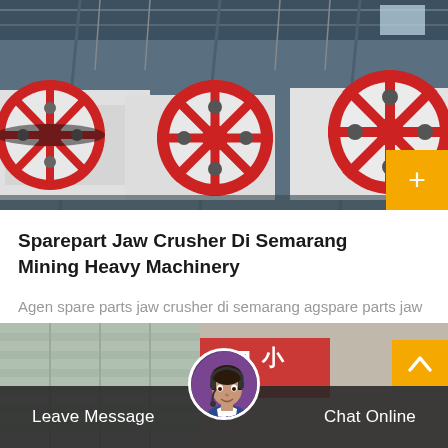[Figure (photo): Industrial jaw crusher machines lined up in a factory/warehouse setting. Large red and white heavy machinery with flywheels, photographed indoors with steel structure visible in background.]
Sparepart Jaw Crusher Di Semarang Mining Heavy Machinery
Agen spare parts jaw crusher di semarang agspare parts jaw crusher di semarang ausa6region agen spare parts jaw crusher d…
[Figure (photo): Bottom partial image showing industrial building exterior with Chinese characters and a customer service representative avatar (woman with headset) overlaid on a dark chat bar with Leave Message and Chat Online options.]